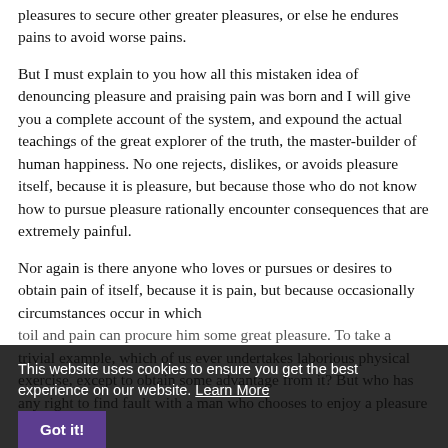pleasures to secure other greater pleasures, or else he endures pains to avoid worse pains.
But I must explain to you how all this mistaken idea of denouncing pleasure and praising pain was born and I will give you a complete account of the system, and expound the actual teachings of the great explorer of the truth, the master-builder of human happiness. No one rejects, dislikes, or avoids pleasure itself, because it is pleasure, but because those who do not know how to pursue pleasure rationally encounter consequences that are extremely painful.
Nor again is there anyone who loves or pursues or desires to obtain pain of itself, because it is pain, but because occasionally circumstances occur in which toil and pain can procure him some great pleasure. To take a trivial example, which of us ever undertakes laborious physical exercise, except to obtain some advantage from it? But who has any right to find fault with a man who chooses to enjoy a pleasure that has
This website uses cookies to ensure you get the best experience on our website. Learn More
Got it!